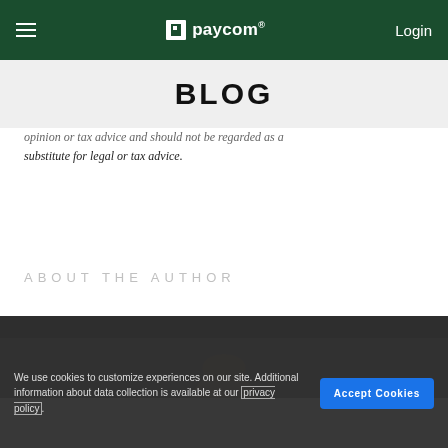Paycom — Login
BLOG
opinion or tax advice and should not be regarded as a substitute for legal or tax advice.
ABOUT THE AUTHOR
[Figure (photo): Author headshot photo on dark background]
We use cookies to customize experiences on our site. Additional information about data collection is available at our privacy policy.